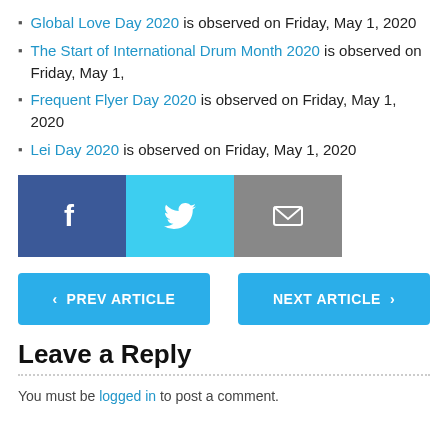Global Love Day 2020 is observed on Friday, May 1, 2020
The Start of International Drum Month 2020 is observed on Friday, May 1,
Frequent Flyer Day 2020 is observed on Friday, May 1, 2020
Lei Day 2020 is observed on Friday, May 1, 2020
[Figure (other): Social share buttons: Facebook (blue), Twitter (light blue), Email (gray)]
< PREV ARTICLE   NEXT ARTICLE >
Leave a Reply
You must be logged in to post a comment.